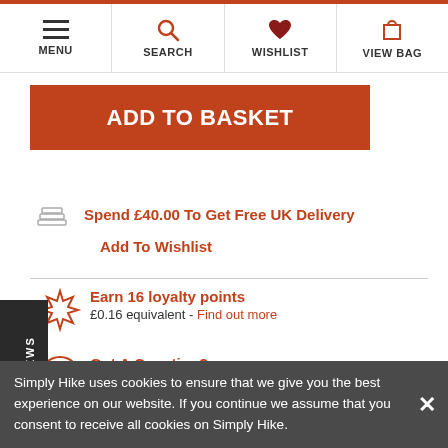MENU | SEARCH | WISHLIST | VIEW BAG
ADD TO BASKET
Spend £40.00 To Get Free UK Delivery
Add To Wishlist
Earn 16 loyalty points
£0.16 equivalent - Find out more
Got A Question?
Click here to ask it
DETAILS
Simply Hike uses cookies to ensure that we give you the best experience on our website. If you continue we assume that you consent to receive all cookies on Simply Hike.